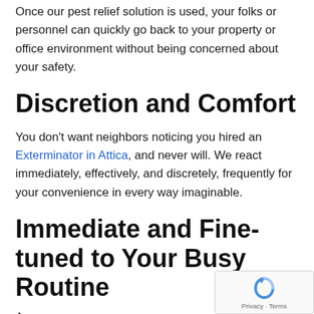Once our pest relief solution is used, your folks or personnel can quickly go back to your property or office environment without being concerned about your safety.
Discretion and Comfort
You don't want neighbors noticing you hired an Exterminator in Attica, and never will. We react immediately, effectively, and discretely, frequently for your convenience in every way imaginable.
Immediate and Fine-tuned to Your Busy Routine
A...